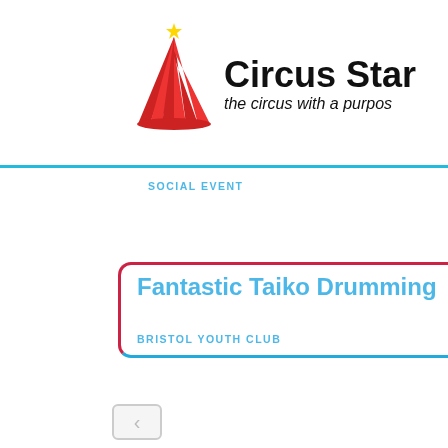[Figure (logo): Circus Star logo with red circus tent graphic and star, text 'Circus Star' in bold black, subtitle 'the circus with a purpose' in italic]
SOCIAL EVENT
Fantastic Taiko Drumming
[Figure (photo): Photo of two people drumming Taiko drums in a room with colorful graffiti on the wall. Text overlay at bottom left reads 'Taiko ming' in pink. Location overlay reads 'THE PARK CENTRE'.]
THE PARK CENTRE
BRISTOL YOUTH CLUB